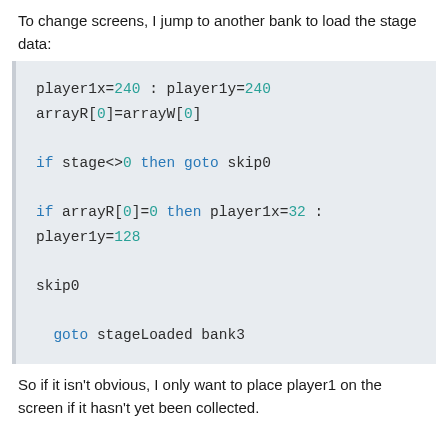To change screens, I jump to another bank to load the stage data:
[Figure (screenshot): Code block showing assembly/basic-like pseudocode: player1x=240 : player1y=240, arrayR[0]=arrayW[0], if stage<>0 then goto skip0, if arrayR[0]=0 then player1x=32 : player1y=128, skip0, goto stageLoaded bank3]
So if it isn't obvious, I only want to place player1 on the screen if it hasn't yet been collected.